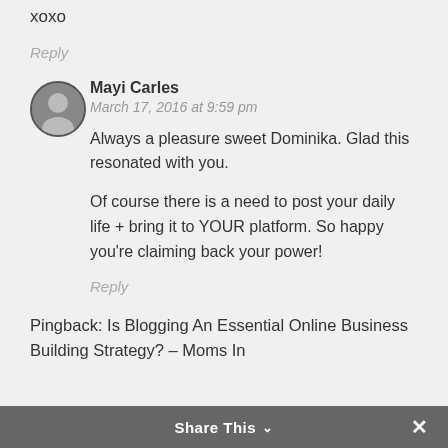Thank you dear May.
xoxo
Reply
Mayi Carles
March 17, 2016 at 9:59 pm
Always a pleasure sweet Dominika. Glad this resonated with you.
Of course there is a need to post your daily life + bring it to YOUR platform. So happy you're claiming back your power!
Reply
Pingback: Is Blogging An Essential Online Business Building Strategy? – Moms In
Share This ˅  ✕